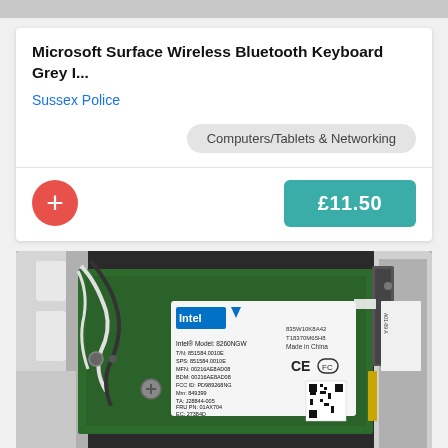[Figure (screenshot): Top gray bar portion of a mobile UI screenshot]
Microsoft Surface Wireless Bluetooth Keyboard Grey I...
Sussex Police
Computers/Tablets & Networking
+ £11.50
[Figure (photo): Close-up photo of an Intel wireless network card (Intel Model 8260NGW) installed inside a laptop, showing the card label with model, part numbers, FCC ID, and a QR code. Antenna cables are visible.]